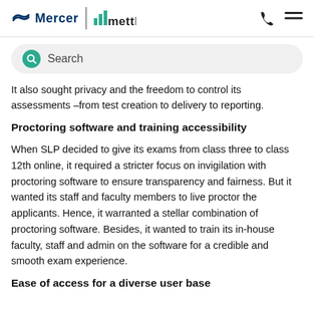Mercer | mettl
[Figure (screenshot): Search bar with teal search icon and placeholder text 'Search']
It also sought privacy and the freedom to control its assessments –from test creation to delivery to reporting.
Proctoring software and training accessibility
When SLP decided to give its exams from class three to class 12th online, it required a stricter focus on invigilation with proctoring software to ensure transparency and fairness. But it wanted its staff and faculty members to live proctor the applicants. Hence, it warranted a stellar combination of proctoring software. Besides, it wanted to train its in-house faculty, staff and admin on the software for a credible and smooth exam experience.
Ease of access for a diverse user base